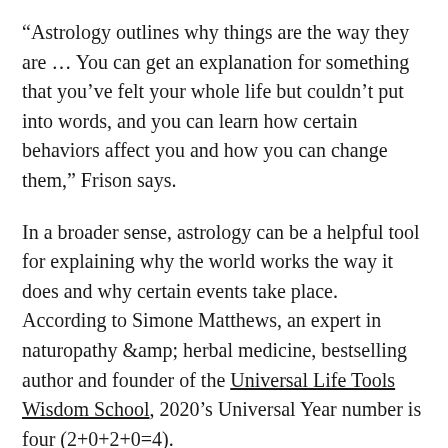“Astrology outlines why things are the way they are … You can get an explanation for something that you’ve felt your whole life but couldn’t put into words, and you can learn how certain behaviors affect you and how you can change them,” Frison says.
In a broader sense, astrology can be a helpful tool for explaining why the world works the way it does and why certain events take place. According to Simone Matthews, an expert in naturopathy &amp; herbal medicine, bestselling author and founder of the Universal Life Tools Wisdom School, 2020’s Universal Year number is four (2+0+2+0=4).
The number “four” in numerology focuses on structure, foundations, dedication and planning, and “four” as a Universal Year number occurs once every nine years. Therefore, in terms of astrology, 2020 is a